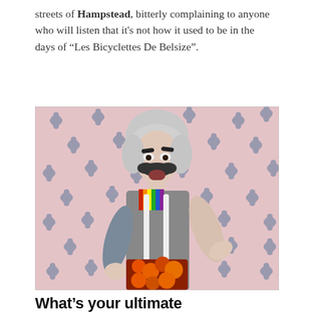streets of Hampstead, bitterly complaining to anyone who will listen that it's not how it used to be in the days of “Les Bicyclettes De Belsize”.
[Figure (photo): A person in theatrical costume with grey wig, large false moustache, colorful striped top with suspenders and orange floral trousers, posing in front of a pink floral wallpaper background.]
What’s your ultimate